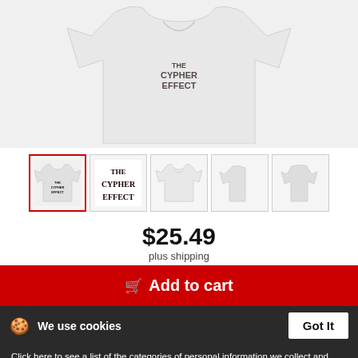[Figure (photo): Main product image: white women's t-shirt with 'The Cypher Effect' graffiti text design, cropped view showing torso area]
[Figure (photo): Thumbnail row: 5 product thumbnails. First (selected, red border): front view of white t-shirt with small logo. Second: close-up of 'The Cypher Effect' graffiti design. Third: plain white t-shirt front. Fourth: side view of t-shirt. Fifth: back/side view of t-shirt.]
$25.49
plus shipping
Add to cart
We use cookies
Got It
Click here to see a list of the categories of personal information we collect and what we use them for ("Notice at Collection").
Privacy Policy
Do Not Sell My Personal Information
By using this website, I agree to the Terms and Conditions